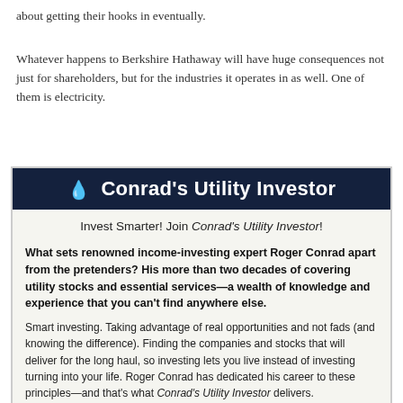about getting their hooks in eventually.
Whatever happens to Berkshire Hathaway will have huge consequences not just for shareholders, but for the industries it operates in as well. One of them is electricity.
[Figure (other): Advertisement box for Conrad's Utility Investor newsletter with dark navy header, drop icon, tagline 'Invest Smarter! Join Conrad's Utility Investor!', bold description of Roger Conrad's expertise, and regular text about smart investing principles.]